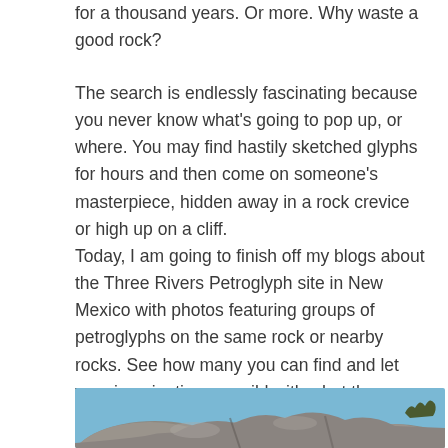for a thousand years. Or more. Why waste a good rock?
The search is endlessly fascinating because you never know what’s going to pop up, or where. You may find hastily sketched glyphs for hours and then come on someone’s masterpiece, hidden away in a rock crevice or high up on a cliff.
Today, I am going to finish off my blogs about the Three Rivers Petroglyph site in New Mexico with photos featuring groups of petroglyphs on the same rock or nearby rocks. See how many you can find and let your imagination run wild with what they mean.
[Figure (photo): Photo of large rocky boulders against a blue sky at the Three Rivers Petroglyph site in New Mexico]